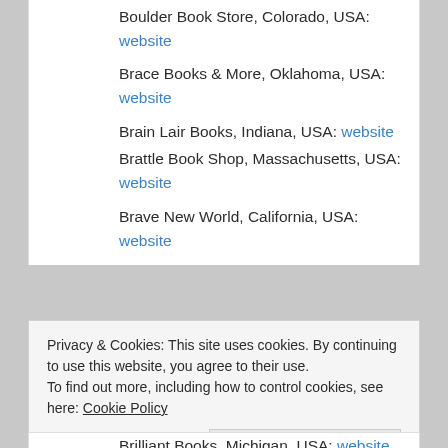Boulder Book Store, Colorado, USA: website
Brace Books & More, Oklahoma, USA: website
Brain Lair Books, Indiana, USA: website
Brattle Book Shop, Massachusetts, USA: website
Brave New World, California, USA: website
Privacy & Cookies: This site uses cookies. By continuing to use this website, you agree to their use. To find out more, including how to control cookies, see here: Cookie Policy
Close and accept
Brilliant Books, Michigan, USA: website